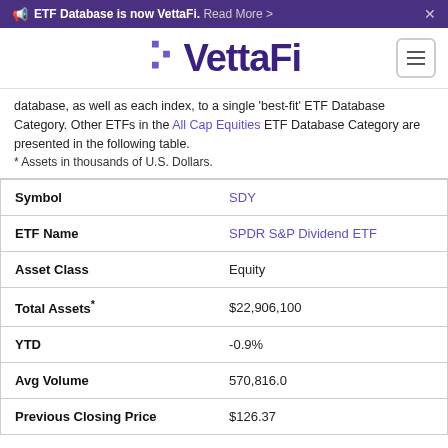ETF Database is now VettaFi. Read More >
[Figure (logo): VettaFi logo with stylized V and purple text]
database, as well as each index, to a single 'best-fit' ETF Database Category. Other ETFs in the All Cap Equities ETF Database Category are presented in the following table.
* Assets in thousands of U.S. Dollars.
| Symbol | SDY |
| --- | --- |
| ETF Name | SPDR S&P Dividend ETF |
| Asset Class | Equity |
| Total Assets* | $22,906,100 |
| YTD | -0.9% |
| Avg Volume | 570,816.0 |
| Previous Closing Price | $126.37 |